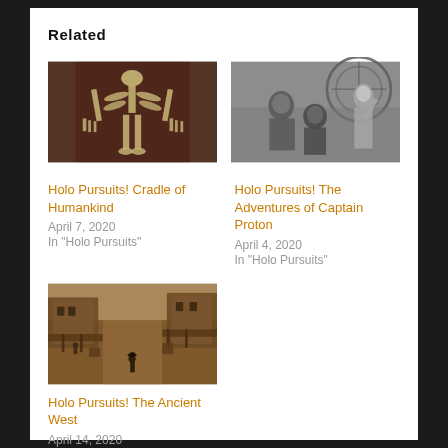Related
[Figure (photo): Photo of fossilized human bones or skeleton remains displayed against a dark background]
Holo Pursuits! Cradle of Humankind
April 7, 2020
In "Holo Pursuits"
[Figure (photo): Black and white photo of actors from a retro science fiction show, appearing to be from a 1950s-style space adventure]
Holo Pursuits! The Adventures of Captain Proton
April 4, 2020
In "Holo Pursuits"
[Figure (photo): Aerial/overhead photo of a western town street scene with buildings and a person standing in the middle of a dusty road]
Holo Pursuits! The Ancient West
April 14, 2020
In "Holo Pursuits"